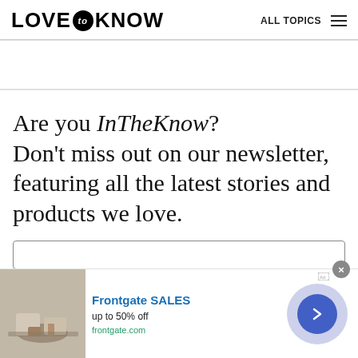LOVE to KNOW   ALL TOPICS
Are you InTheKnow? Don't miss out on our newsletter, featuring all the latest stories and products we love.
[Figure (screenshot): Email newsletter signup input box]
[Figure (screenshot): Frontgate SALES advertisement banner with outdoor furniture image, text 'Frontgate SALES up to 50% off frontgate.com', close button, and arrow navigation button]